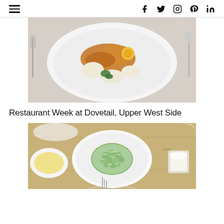≡  f  t  instagram  pinterest  in
[Figure (photo): Overhead view of a white bowl containing a dish with egg yolk, mushrooms or chanterelles, and cream/puree dollops, with fork visible on left and spoon on right, on white table.]
Restaurant Week at Dovetail, Upper West Side
[Figure (photo): Overhead view of a white plate with green gnocchi or pasta dusted with grated cheese, surrounded by small white plates, a bowl of yellow sauce/butter, a glass of cream, on a wooden table with printed newspaper-style liner.]